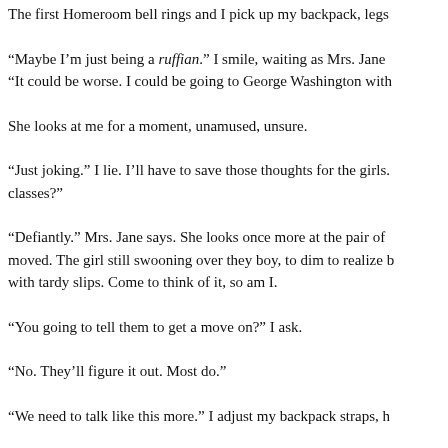The first Homeroom bell rings and I pick up my backpack, legs
“Maybe I’m just being a ruffian.” I smile, waiting as Mrs. Jane “It could be worse. I could be going to George Washington with
She looks at me for a moment, unamused, unsure.
“Just joking.” I lie. I’ll have to save those thoughts for the girls. classes?
“Defiantly.” Mrs. Jane says. She looks once more at the pair of moved. The girl still swooning over they boy, to dim to realize b with tardy slips. Come to think of it, so am I.
“You going to tell them to get a move on?” I ask.
“No. They’ll figure it out. Most do.”
“We need to talk like this more.” I adjust my backpack straps, h